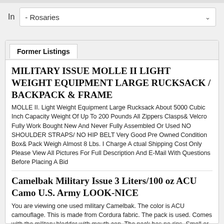In  - Rosaries
Former Listings
MILITARY ISSUE MOLLE II LIGHT WEIGHT EQUIPMENT LARGE RUCKSACK / BACKPACK & FRAME
MOLLE II. Light Weight Equipment Large Rucksack About 5000 Cubic Inch Capacity Weight Of Up To 200 Pounds All Zippers Clasps& Velcro Fully Work Bought New And Never Fully Assembled Or Used NO SHOULDER STRAPS/ NO HIP BELT Very Good Pre Owned Condition Box& Pack Weigh Almost 8 Lbs. I Charge A ctual Shipping Cost Only Please View All Pictures For Full Description And E-Mail With Questions Before Placing A Bid
Camelbak Military Issue 3 Liters/100 oz ACU Camo U.S. Army LOOK-NICE
You are viewing one used military Camelbak. The color is ACU camouflage. This is made from Cordura fabric. The pack is used. Comes with the military bladder with mouth cap. The pack has no rips. Smell or stains. This is real U.S. Military Surplus and not some made in China Knock-off. No Sales outside the Continental U.S. All Sales Final. Please